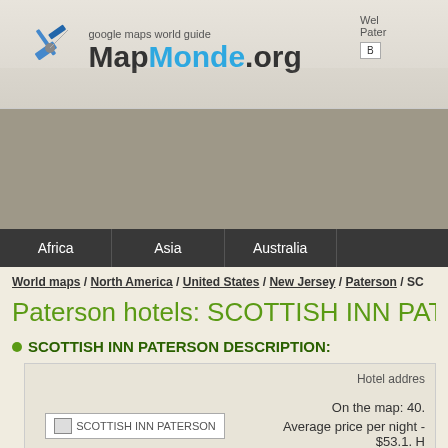[Figure (logo): MapMonde.org logo with satellite icon and tagline 'google maps world guide']
[Figure (other): Gray advertisement banner area]
Africa | Asia | Australia
World maps / North America / United States / New Jersey / Paterson / SC
Paterson hotels: SCOTTISH INN PATE
SCOTTISH INN PATERSON DESCRIPTION:
[Figure (photo): SCOTTISH INN PATERSON hotel photo placeholder]
Hotel addres: On the map: 40. Average price per night - $53.1. H